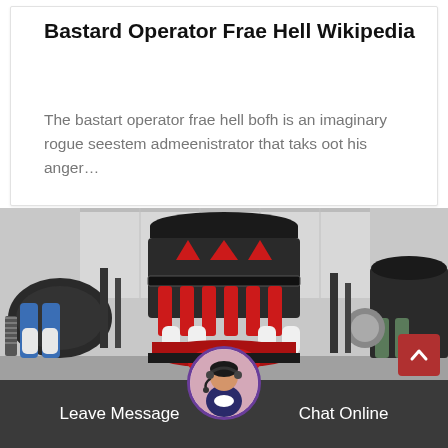Bastard Operator Frae Hell Wikipedia
The bastart operator frae hell bofh is an imaginary rogue seestem admeenistrator that taks oot his anger…
[Figure (photo): Industrial cone crusher machinery in a factory/yard setting, large heavy red and black equipment with hydraulic cylinders, blue components visible on left, another crusher on right]
Leave Message   Chat Online